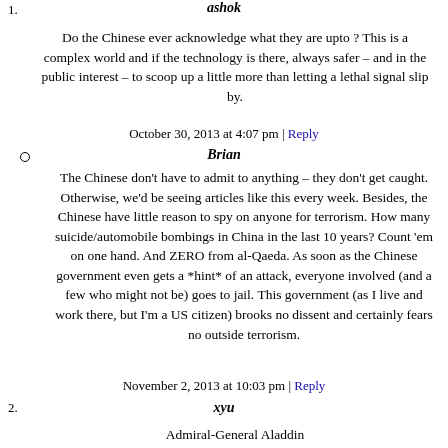1. ashok
Do the Chinese ever acknowledge what they are upto ? This is a complex world and if the technology is there, always safer – and in the public interest – to scoop up a little more than letting a lethal signal slip by.
October 30, 2013 at 4:07 pm | Reply
○ Brian
The Chinese don't have to admit to anything – they don't get caught. Otherwise, we'd be seeing articles like this every week. Besides, the Chinese have little reason to spy on anyone for terrorism. How many suicide/automobile bombings in China in the last 10 years? Count 'em on one hand. And ZERO from al-Qaeda. As soon as the Chinese government even gets a *hint* of an attack, everyone involved (and a few who might not be) goes to jail. This government (as I live and work there, but I'm a US citizen) brooks no dissent and certainly fears no outside terrorism.
November 2, 2013 at 10:03 pm | Reply
2. xyu
Admiral-General Aladdin